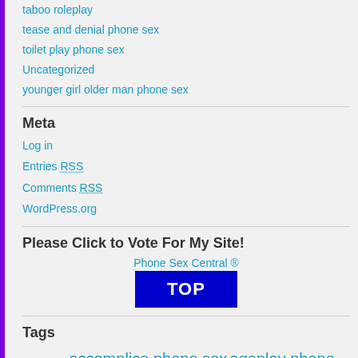taboo roleplay
tease and denial phone sex
toilet play phone sex
Uncategorized
younger girl older man phone sex
Meta
Log in
Entries RSS
Comments RSS
WordPress.org
Please Click to Vote For My Site!
Phone Sex Central ®
[Figure (other): Blue TOP button for voting]
Tags
accomplice accomplice phone sex ageplay phone sex